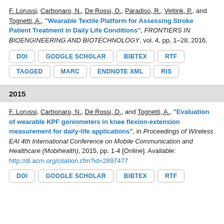F. Lorussi, Carbonaro, N., De Rossi, D., Paradiso, R., Veltink, P., and Tognetti, A., "Wearable Textile Platform for Assessing Stroke Patient Treatment in Daily Life Conditions", FRONTIERS IN BIOENGINEERING AND BIOTECHNOLOGY, vol. 4, pp. 1–28, 2016.
DOI
GOOGLE SCHOLAR
BIBTEX
RTF
TAGGED
MARC
ENDNOTE XML
RIS
2015
F. Lorussi, Carbonaro, N., De Rossi, D., and Tognetti, A., "Evaluation of wearable KPF goniometers in knee flexion-extension measurement for daily-life applications", in Proceedings of Wireless EAI 4th International Conference on Mobile Communication and Healthcare (Mobihealth), 2015, pp. 1-4 [Online]. Available: http://dl.acm.org/citation.cfm?id=2897477
DOI
GOOGLE SCHOLAR
BIBTEX
RTF